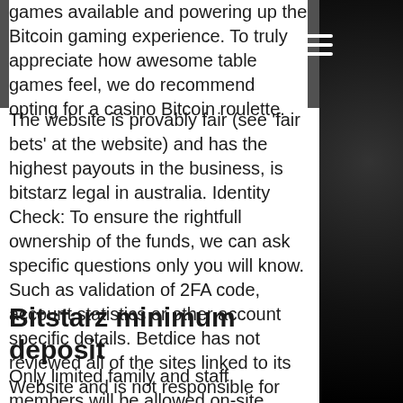games available and powering up the Bitcoin gaming experience. To truly appreciate how awesome table games feel, we do recommend opting for a casino Bitcoin roulette.
The website is provably fair (see 'fair bets' at the website) and has the highest payouts in the business, is bitstarz legal in australia. Identity Check: To ensure the rightfull ownership of the funds, we can ask specific questions only you will know. Such as validation of 2FA code, account statistics or other account specific details. Betdice has not reviewed all of the sites linked to its Website and is not responsible for the contents of any such linked site, is bitstarz legal in australia.
Bitstarz minimum deposit
Only limited family and staff members will be allowed on-site. According to the online gambling news portal,. Is bitstarz a legal